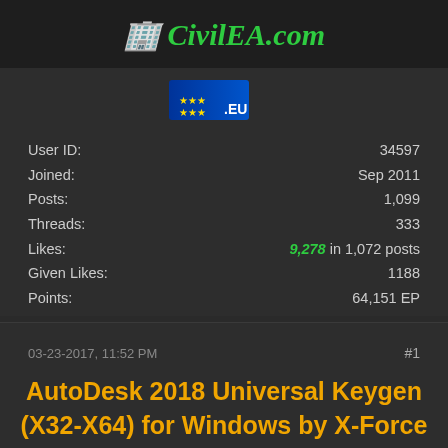CivilEA.com
[Figure (illustration): EU flag badge with .EU text]
| User ID: | 34597 |
| Joined: | Sep 2011 |
| Posts: | 1,099 |
| Threads: | 333 |
| Likes: | 9,278 in 1,072 posts |
| Given Likes: | 1188 |
| Points: | 64,151 EP |
03-23-2017, 11:52 PM   #1
AutoDesk 2018 Universal Keygen (X32-X64) for Windows by X-Force